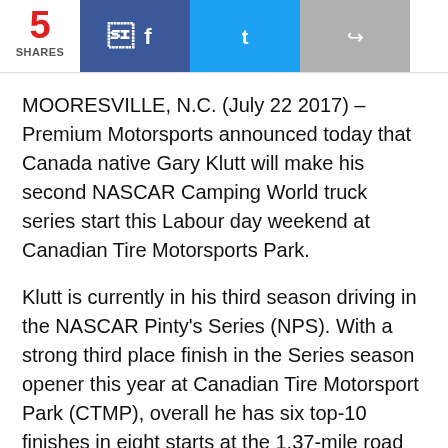5 SHARES
MOORESVILLE, N.C. (July 22 2017) – Premium Motorsports announced today that Canada native Gary Klutt will make his second NASCAR Camping World truck series start this Labour day weekend at Canadian Tire Motorsports Park.
Klutt is currently in his third season driving in the NASCAR Pinty's Series (NPS). With a strong third place finish in the Series season opener this year at Canadian Tire Motorsport Park (CTMP), overall he has six top-10 finishes in eight starts at the 1.37-mile road course. Last year Gary enjoyed his first start in a National series at Canadian Tire Motorsports Park, driving the #51 KBM Tundra, and